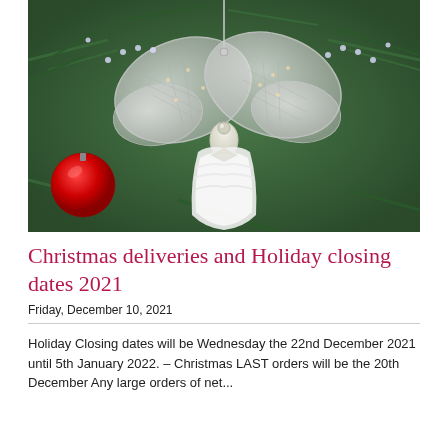[Figure (photo): A decorative Christmas angel ornament with translucent butterfly wings made of wire mesh and crystal beads, a white tulle/ribbon skirt, surrounded by green pine branches and a red ornament ball in the background.]
Christmas deliveries and Holiday closing dates 2021
Friday, December 10, 2021
Holiday Closing dates will be Wednesday the 22nd December 2021 until 5th January 2022. – Christmas LAST orders will be the 20th December Any large orders of net...